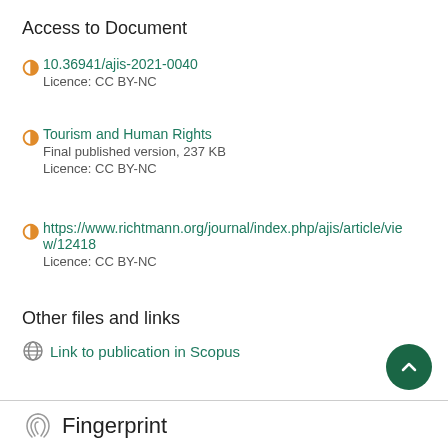Access to Document
10.36941/ajis-2021-0040
Licence: CC BY-NC
Tourism and Human Rights
Final published version, 237 KB
Licence: CC BY-NC
https://www.richtmann.org/journal/index.php/ajis/article/view/12418
Licence: CC BY-NC
Other files and links
Link to publication in Scopus
Fingerprint